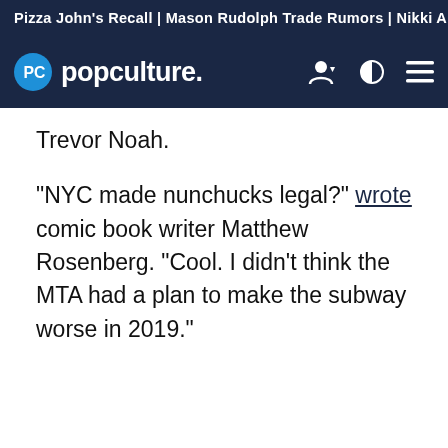Pizza John's Recall | Mason Rudolph Trade Rumors | Nikki A
popculture.
Trevor Noah.
"NYC made nunchucks legal?" wrote comic book writer Matthew Rosenberg. "Cool. I didn't think the MTA had a plan to make the subway worse in 2019."